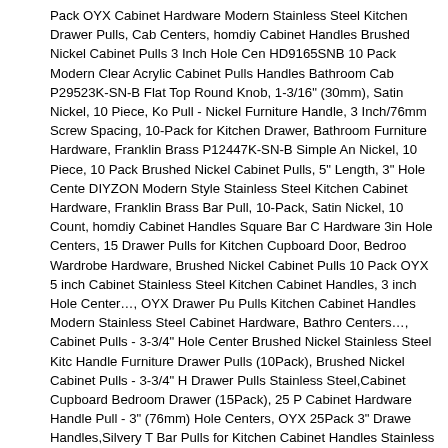Pack OYX Cabinet Hardware Modern Stainless Steel Kitchen Drawer Pulls, Cab Centers, homdiy Cabinet Handles Brushed Nickel Cabinet Pulls 3 Inch Hole Cen HD9165SNB 10 Pack Modern Clear Acrylic Cabinet Pulls Handles Bathroom Cab P29523K-SN-B Flat Top Round Knob, 1-3/16" (30mm), Satin Nickel, 10 Piece, Ko Pull - Nickel Furniture Handle, 3 Inch/76mm Screw Spacing, 10-Pack for Kitchen Drawer, Bathroom Furniture Hardware, Franklin Brass P12447K-SN-B Simple An Nickel, 10 Piece, 10 Pack Brushed Nickel Cabinet Pulls, 5" Length, 3" Hole Cente DIYZON Modern Style Stainless Steel Kitchen Cabinet Hardware, Franklin Brass Bar Pull, 10-Pack, Satin Nickel, 10 Count, homdiy Cabinet Handles Square Bar C Hardware 3in Hole Centers, 15 Drawer Pulls for Kitchen Cupboard Door, Bedroo Wardrobe Hardware, Brushed Nickel Cabinet Pulls 10 Pack OYX 5 inch Cabinet Stainless Steel Kitchen Cabinet Handles, 3 inch Hole Center…, OYX Drawer Pu Pulls Kitchen Cabinet Handles Modern Stainless Steel Cabinet Hardware, Bathro Centers…, Cabinet Pulls - 3-3/4" Hole Center Brushed Nickel Stainless Steel Kitc Handle Furniture Drawer Pulls (10Pack), Brushed Nickel Cabinet Pulls - 3-3/4" H Drawer Pulls Stainless Steel,Cabinet Cupboard Bedroom Drawer (15Pack), 25 P Cabinet Hardware Handle Pull - 3" (76mm) Hole Centers, OYX 25Pack 3" Drawe Handles,Silvery T Bar Pulls for Kitchen Cabinet Handles Stainless Steel Square S and Dresser Pull 3"Hole Center, Askano AP217 Cabinet Pulls, Kitchen Cabinet H Pcs), Brushed Nickel, Kitchen Cabinet Hardware, Drawer Pulls, Kitchen Handles homdiy Cabinet Knobs Brushed Nickel - HD8791SNB Cabinet Hardware Knobs 1 Door Knobs for Kitchen Cabinets Cupboard Knobs, Cosmas 6632SN Satin Nicke Inch (76mm) Hole Centers - 25 Pack, homdiy Brushed Nickel Cabinet Knobs 15 HD201SN Kitchen Cabinet Hardware Knobs Brushed Nickel 2in 50mm Length Si Drawer Knobs, Southern Hills Brushed Nickel Cabinet Handles- 5 Pack - 6 1/4 In